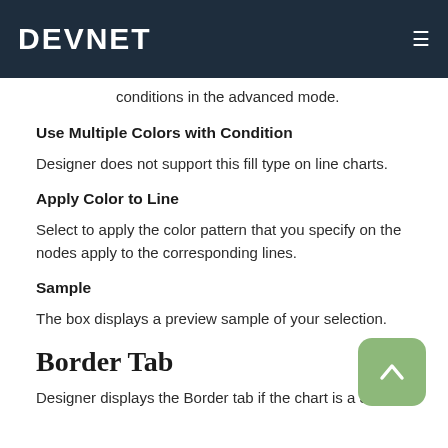DEVNET
conditions in the advanced mode.
Use Multiple Colors with Condition
Designer does not support this fill type on line charts.
Apply Color to Line
Select to apply the color pattern that you specify on the nodes apply to the corresponding lines.
Sample
The box displays a preview sample of your selection.
Border Tab
Designer displays the Border tab if the chart is a 3-D line